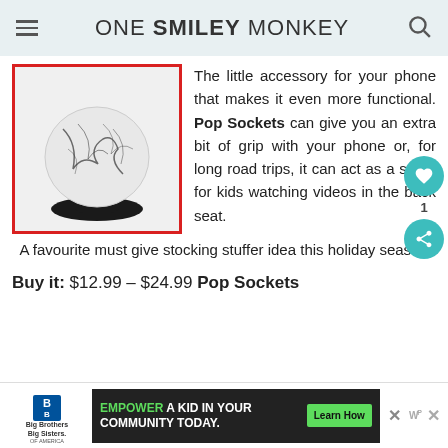ONE SMILEY MONKEY
[Figure (photo): A marble-patterned PopSocket with white and black veining on top and a black base with 'PSOCKE' text, shown expanded.]
The little accessory for your phone that makes it even more functional. Pop Sockets can give you an extra bit of grip with your phone or, for long road trips, it can act as a stand for kids watching videos in the back seat. A favourite must give stocking stuffer idea this holiday season.
Buy it: $12.99 – $24.99 Pop Sockets